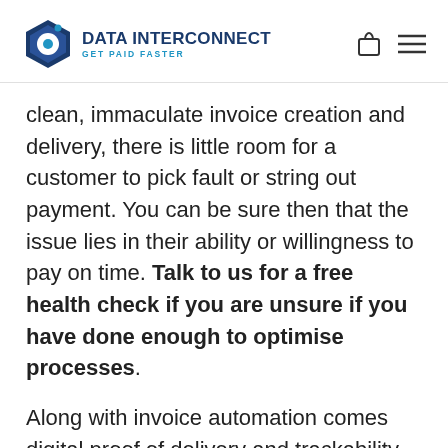[Figure (logo): Data Interconnect logo with hexagonal icon and text 'DATA INTERCONNECT GET PAID FASTER']
clean, immaculate invoice creation and delivery, there is little room for a customer to pick fault or string out payment. You can be sure then that the issue lies in their ability or willingness to pay on time. Talk to us for a free health check if you are unsure if you have done enough to optimise processes.
Along with invoice automation comes digital proof of delivery and trackability of invoice status – with Corrivo at least. We give you an audit trail using closed-loop technology that allows you to see when